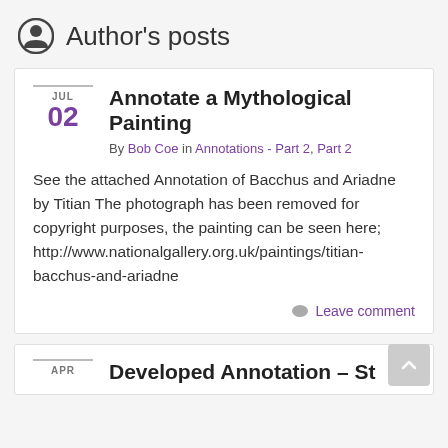Author's posts
Annotate a Mythological Painting
By Bob Coe in Annotations - Part 2, Part 2
See the attached Annotation of Bacchus and Ariadne by Titian The photograph has been removed for copyright purposes, the painting can be seen here; http://www.nationalgallery.org.uk/paintings/titian-bacchus-and-ariadne
Leave comment
Developed Annotation – St